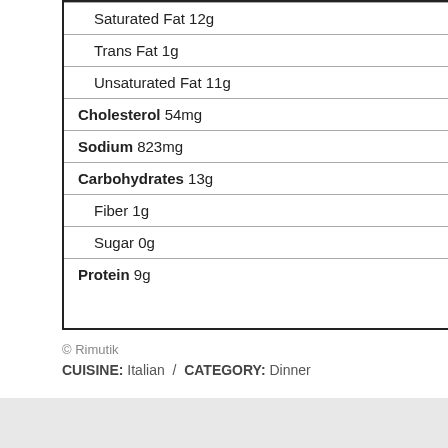| Saturated Fat 12g |
| Trans Fat 1g |
| Unsaturated Fat 11g |
| Cholesterol 54mg |
| Sodium 823mg |
| Carbohydrates 13g |
| Fiber 1g |
| Sugar 0g |
| Protein 9g |
© Rimutik
CUISINE: Italian / CATEGORY: Dinner